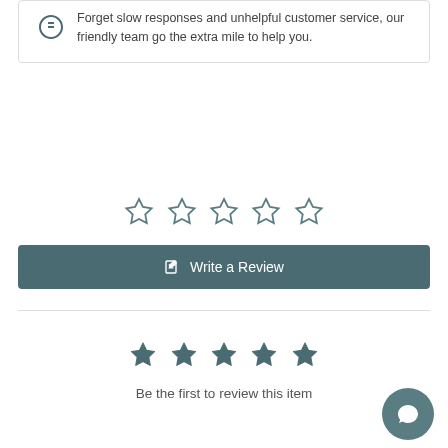Forget slow responses and unhelpful customer service, our friendly team go the extra mile to help you.
[Figure (other): Five empty star rating symbols]
Write a Review
[Figure (other): Five filled star rating symbols]
Be the first to review this item
[Figure (other): Chat bubble icon button]